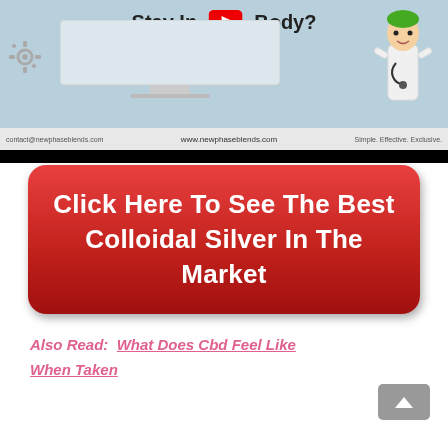[Figure (screenshot): Video thumbnail showing a partial title 'Stay In... Body?' with a YouTube play button overlay, a light blue background with a cartoon doctor figure on the right, and a bottom bar showing contact@newphaseblends.com, www.newphaseblends.com, Simple. Effective. Exclusive. Below the thumbnail is a solid black bar.]
[Figure (illustration): Large red rounded-rectangle call-to-action button with white bold text: 'Click Here To See The Best Colloidal Silver In The Market']
Also Read:  What Does Cbd Feel Like When Taken